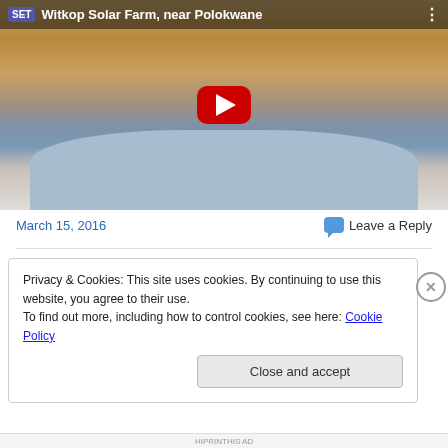[Figure (screenshot): YouTube video thumbnail showing a man in a light blue shirt sitting indoors with a wooden ceiling, with a YouTube play button overlay. Title bar shows 'Witkop Solar Farm, near Polokwane'. SET logo visible top-left.]
March 15, 2016
Leave a Reply
Privacy & Cookies: This site uses cookies. By continuing to use this website, you agree to their use.
To find out more, including how to control cookies, see here: Cookie Policy
Close and accept